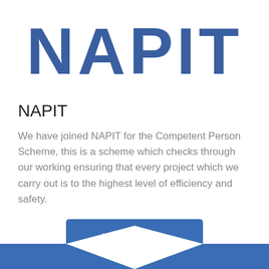[Figure (logo): NAPIT logo — large bold blue text reading NAPIT]
NAPIT
We have joined NAPIT for the Competent Person Scheme, this is a scheme which checks through our working ensuring that every project which we carry out is to the highest level of efficiency and safety.
[Figure (other): Blue button with white text reading 'Take A Look']
[Figure (illustration): Blue decorative chevron/arrow shapes at the bottom of the page]